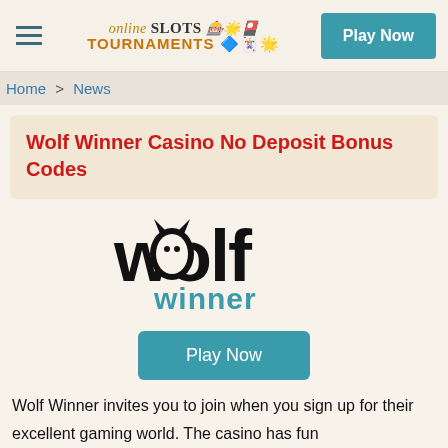online SLOTS TOURNAMENTS | Play Now
Home > News
Wolf Winner Casino No Deposit Bonus Codes
[Figure (logo): Wolf Winner casino logo — large black 'wolf' text with a wolf-head silhouette inside the 'o', and 'winner' in cyan/teal below]
Play Now
Wolf Winner invites you to join when you sign up for their excellent gaming world. The casino has fun